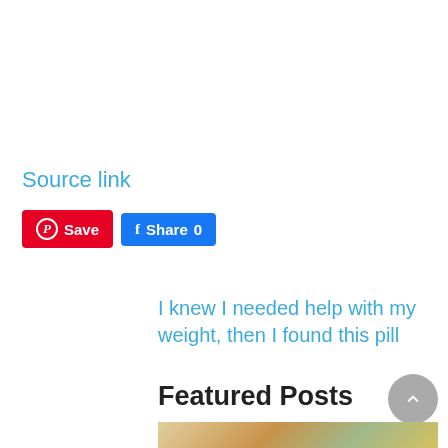Source link
[Figure (other): Social share buttons: Pinterest Save, Facebook Share 0, Twitter Tweet]
I knew I needed help with my weight, then I found this pill
Featured Posts
[Figure (photo): Food photo partially visible at bottom of page]
[Figure (other): Scroll-to-top circular button]